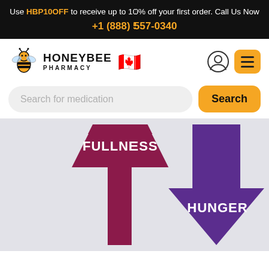Use HBP10OFF to receive up to 10% off your first order. Call Us Now +1 (888) 557-0340
[Figure (logo): Honeybee Pharmacy logo with bee icon and Canadian flag emoji]
Search for medication
[Figure (infographic): Two opposing arrows: a dark red/maroon upward arrow labeled FULLNESS and a purple downward arrow labeled HUNGER, on a light gray background]